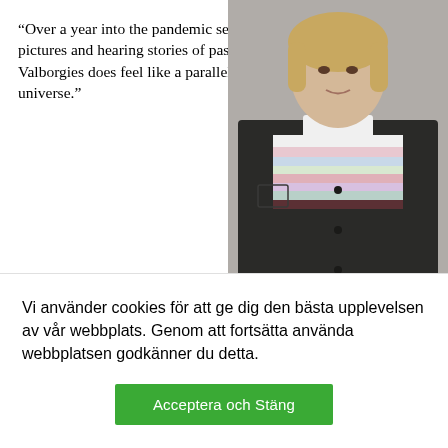“Over a year into the pandemic seeing pictures and hearing stories of past Valborgies does feel like a parallel universe.”
[Figure (photo): Portrait photo of a young woman wearing a dark jacket over a colorful striped sweater, with short blonde hair, looking directly at camera.]
Mikaela Sasi. Photo: Saber Malmgren.
Sisto april – worth the hype?
Vi använder cookies för att ge dig den bästa upplevelsen av vår webbplats. Genom att fortsätta använda webbplatsen godkänner du detta.
Acceptera och Stäng